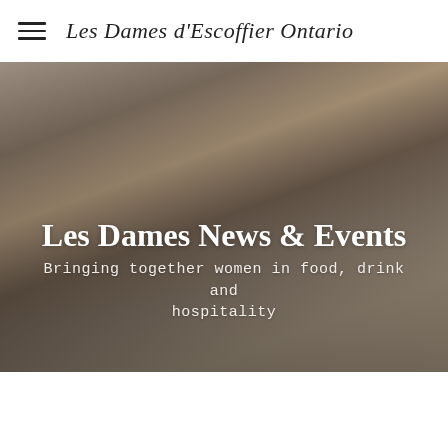Les Dames d'Escoffier Ontario
[Figure (photo): Group photo of women standing together in a modern interior room with track lighting, wood floors, and a kitchen/bar area in the background. The group consists of approximately 15 women dressed in casual summer attire.]
Les Dames News & Events
Bringing together women in food, drink and hospitality